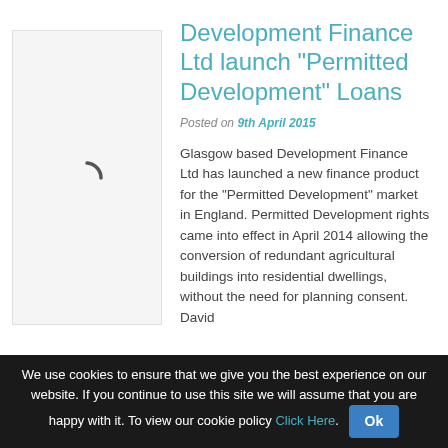[Figure (illustration): Gray placeholder box with a spinning loader icon (dark arc) in the center, representing an image that is loading.]
Development Finance Ltd launch “Permitted Development” Loans
Posted on 9th April 2015
Glasgow based Development Finance Ltd has launched a new finance product for the “Permitted Development” market in England. Permitted Development rights came into effect in April 2014 allowing the conversion of redundant agricultural buildings into residential dwellings, without the need for planning consent. David
We use cookies to ensure that we give you the best experience on our website. If you continue to use this site we will assume that you are happy with it. To view our cookie policy Click Here.  Ok